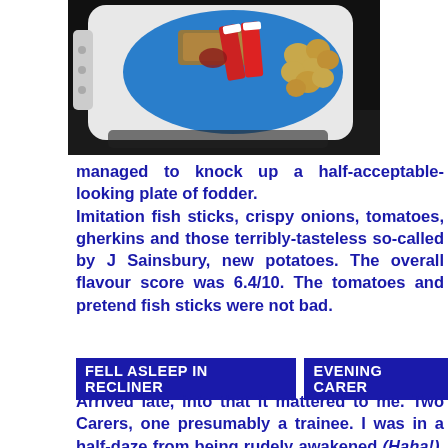[Figure (photo): Photo of a blue plate on a white tray with food: imitation fish sticks (red crab sticks), crispy onions/breaded items, tomatoes, gherkins, and new potatoes, on a dark background.]
managed to knock up a half-acceptable-looking plate of fodder. Imitation fish sticks, crispy onions, tomatoes, gherkins and those terribly-tasteless so-called by J Sainsbury, new potatoes. The overall flavour score was 6.4/10. The tomatoes and pretend fish sticks were not bad.
FELL ASLEEP IN RECLINER   EVENING CARER
Arrived late, into that it mattered to me. Two Carers, one presumably a trainee. I was in a half-daze from being rudely awakened (Haha!), so I